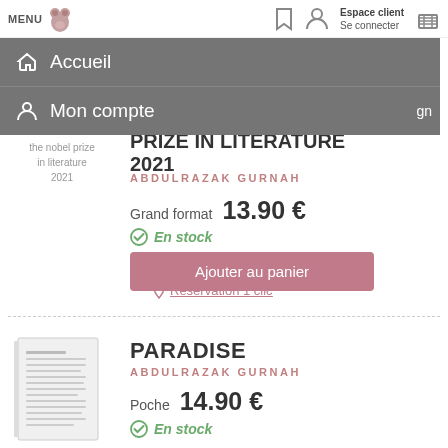MENU | Espace client Se connecter
Accueil
Mon compte
the nobel prize in literature 2021
PRIZE IN LITERATURE 2021
ABDULRAZAK GURNAH
Grand format  13.90 €
En stock
Ajouter au panier
Réservation 1 clic
PARADISE
ABDULRAZAK GURNAH
Poche  14.90 €
En stock